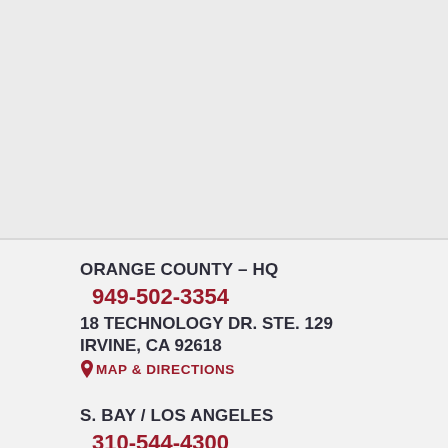ORANGE COUNTY – HQ
949-502-3354
18 TECHNOLOGY DR. STE. 129
IRVINE, CA 92618
MAP & DIRECTIONS
S. BAY / LOS ANGELES
310-544-4300
4733 TORRANCE BLVD.
TORRANCE, CA 90503
MAP & DIRECTIONS